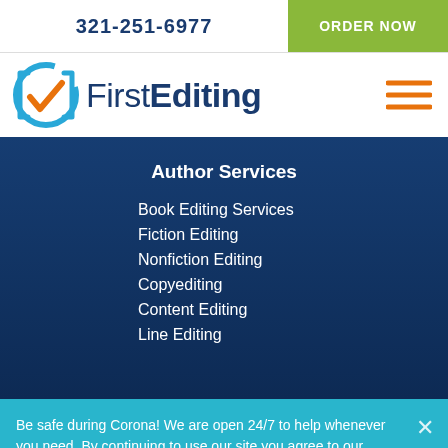321-251-6977
ORDER NOW
[Figure (logo): First Editing logo with blue checkbox icon and orange checkmark, text 'FirstEditing' in dark blue]
Author Services
Book Editing Services
Fiction Editing
Nonfiction Editing
Copyediting
Content Editing
Line Editing
Be safe during Corona! We are open 24/7 to help whenever you need. By continuing to use our site you agree to our terms.